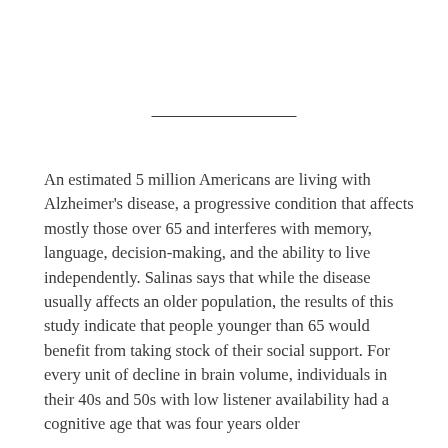An estimated 5 million Americans are living with Alzheimer's disease, a progressive condition that affects mostly those over 65 and interferes with memory, language, decision-making, and the ability to live independently. Salinas says that while the disease usually affects an older population, the results of this study indicate that people younger than 65 would benefit from taking stock of their social support. For every unit of decline in brain volume, individuals in their 40s and 50s with low listener availability had a cognitive age that was four years older